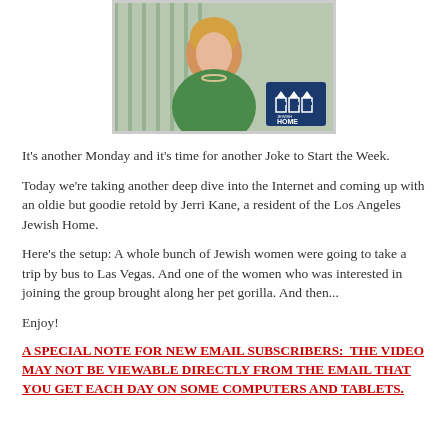[Figure (photo): Elderly woman with curly blonde hair wearing a green top and pearl necklace, standing in front of venetian blinds. Jewish Home logo visible in bottom right corner of the image.]
It's another Monday and it's time for another Joke to Start the Week.
Today we're taking another deep dive into the Internet and coming up with an oldie but goodie retold by Jerri Kane, a resident of the Los Angeles Jewish Home.
Here's the setup: A whole bunch of Jewish women were going to take a trip by bus to Las Vegas. And one of the women who was interested in joining the group brought along her pet gorilla. And then...
Enjoy!
A SPECIAL NOTE FOR NEW EMAIL SUBSCRIBERS:  THE VIDEO MAY NOT BE VIEWABLE DIRECTLY FROM THE EMAIL THAT YOU GET EACH DAY ON SOME COMPUTERS AND TABLETS.